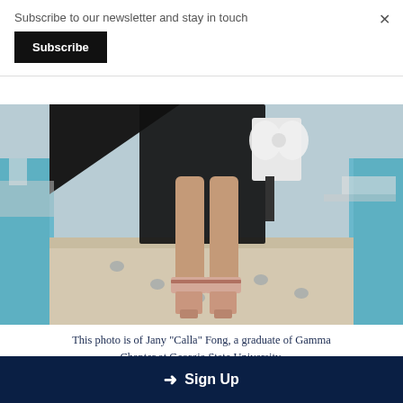Subscribe to our newsletter and stay in touch
Subscribe
×
[Figure (photo): Graduation photo showing legs of a person wearing pink heeled shoes and black graduation gown with white bow/tassel, standing on poolside edge with blue water on both sides]
This photo is of Jany "Calla" Fong, a graduate of Gamma Chapter at Georgia State University.
Photo credit: Julieann Tran
➜ Sign Up